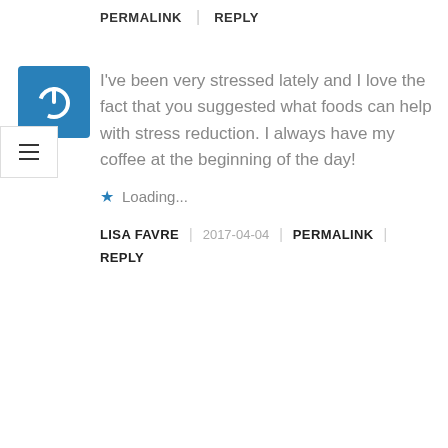PERMALINK | REPLY
I've been very stressed lately and I love the fact that you suggested what foods can help with stress reduction. I always have my coffee at the beginning of the day!
Loading...
LISA FAVRE | 2017-04-04 | PERMALINK | REPLY